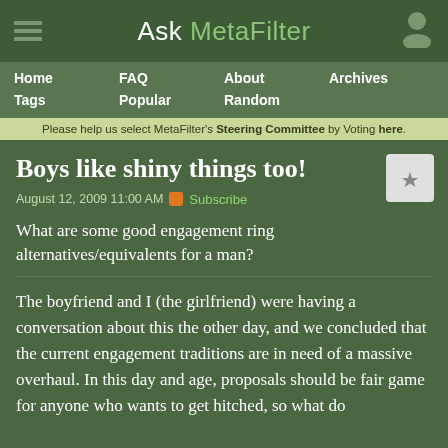Ask MetaFilter
Home  FAQ  About  Archives  Tags  Popular  Random
Please help us select MetaFilter's Steering Committee by Voting here.
Boys like shiny things too!
August 12, 2009 11:00 AM  Subscribe
What are some good engagement ring alternatives/equivalents for a man?
The boyfriend and I (the girlfriend) were having a conversation about this the other day, and we concluded that the current engagement traditions are in need of a massive overhaul. In this day and age, proposals should be fair game for anyone who wants to get hitched, so what do